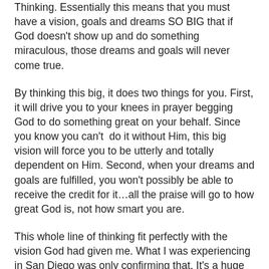Thinking.  Essentially this means that you must have a vision, goals and dreams SO BIG that if God doesn't show up and do something miraculous, those dreams and goals will never come true.
By thinking this big, it does two things for you.  First, it will drive you to your knees in prayer begging God to do something great on your behalf.  Since you know you can't  do it without Him, this big vision will force you to be utterly and totally dependent on Him.  Second, when your dreams and goals are fulfilled, you won't possibly be able to receive the credit for it…all the praise will go to how great God is, not how smart you are.
This whole line of thinking fit perfectly with the vision God had given me.  What I was experiencing in San Diego was only confirming that. It's a huge vision that I'm not nearly smart enough to accomplish without God